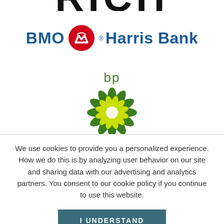[Figure (logo): Partially cropped logo at top of page, text cut off]
[Figure (logo): BMO Harris Bank logo with red circle emblem containing mountain/crown icon, blue bold text]
[Figure (logo): BP logo with green text 'bp' above a green and yellow sunflower/helios symbol]
We use cookies to provide you a personalized experience. How we do this is by analyzing user behavior on our site and sharing data with our advertising and analytics partners. You consent to our cookie policy if you continue to use this website.
I UNDERSTAND